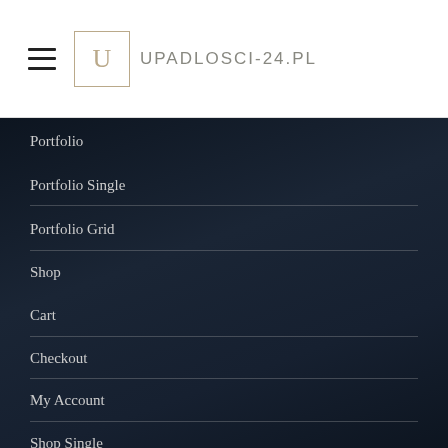[Figure (logo): Upadlosci-24.pl website header with hamburger menu icon and logo showing U in a box followed by UPADLOSCI-24.PL text]
Portfolio
Portfolio Single
Portfolio Grid
Shop
Cart
Checkout
My Account
Shop Single